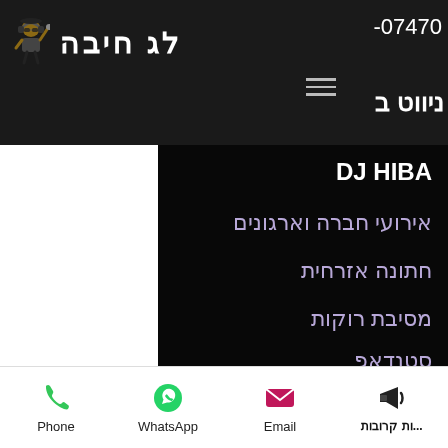[Figure (logo): DJ Hiba logo with cartoon DJ figure and Hebrew text לג חיבה in white on dark background]
-07470
[Figure (other): Hamburger menu icon (three horizontal lines)]
ניווט ב
DJ HIBA
אירועי חברה וארגונים
חתונה אזרחית
מסיבת רוקות
סטנדאפ
ימי הולדת
לוח הופעות
Phone
WhatsApp
Email
...ות קרובות